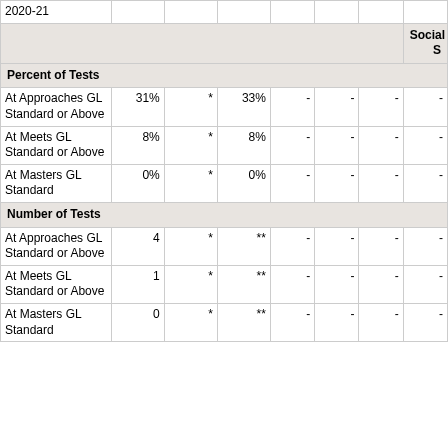|  | Col1 | Col2 | Col3 | Col4 | Col5 | Col6 | Social S... |
| --- | --- | --- | --- | --- | --- | --- | --- |
| 2020-21 |  |  |  |  |  |  |  |
|  |  |  |  |  |  |  | Social S |
| Percent of Tests |  |  |  |  |  |  |  |
| At Approaches GL Standard or Above | 31% | * | 33% | - | - | - | - |
| At Meets GL Standard or Above | 8% | * | 8% | - | - | - | - |
| At Masters GL Standard | 0% | * | 0% | - | - | - | - |
| Number of Tests |  |  |  |  |  |  |  |
| At Approaches GL Standard or Above | 4 | * | ** | - | - | - | - |
| At Meets GL Standard or Above | 1 | * | ** | - | - | - | - |
| At Masters GL Standard | 0 | * | ** | - | - | - | - |